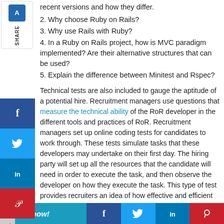recent versions and how they differ.
2. Why choose Ruby on Rails?
3. Why use Rails with Ruby?
4. In a Ruby on Rails project, how is MVC paradigm implemented? Are their alternative structures that can be used?
5. Explain the difference between Minitest and Rspec?
Technical tests are also included to gauge the aptitude of a potential hire. Recruitment managers use questions that measure the technical ability of the RoR developer in the different tools and practices of RoR. Recruitment managers set up online coding tests for candidates to work through. These tests simulate tasks that these developers may undertake on their first day. The hiring party will set up all the resources that the candidate will need in order to execute the task, and then observe the developer on how they execute the task. This type of test provides recruiters an idea of how effective and efficient the developer is and how well of a fit they are for the company.